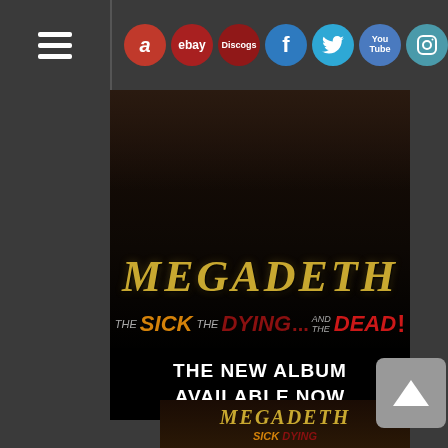Navigation bar with hamburger menu and social/shop icons: Amazon, eBay, Discogs, Facebook, Twitter, YouTube, Instagram, TikTok, Email
[Figure (illustration): Megadeth album promotional banner showing the band logo 'MEGADETH' in metallic gold lettering and the album title 'The Sick, The Dying... and The Dead!' in stylized metal typography on a dark background]
THE NEW ALBUM AVAILABLE NOW
CLICK TO PREVIEW & WATCH THE VIDEO
[Figure (photo): Bottom portion of Megadeth album art showing a soldier/warrior figure with the album name 'The Sick, Dying...' visible]